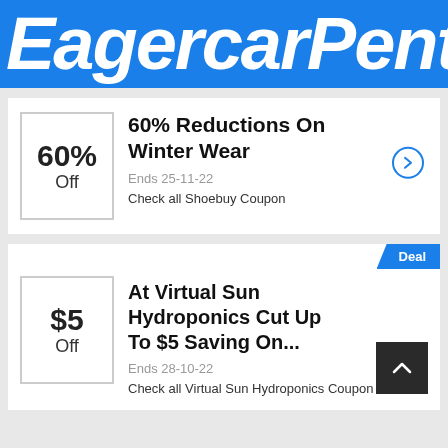EagercarPent
60% Reductions On Winter Wear
Ends 25-11-22
Check all Shoebuy Coupon
At Virtual Sun Hydroponics Cut Up To $5 Saving On...
Ends 28-10-22
Check all Virtual Sun Hydroponics Coupon